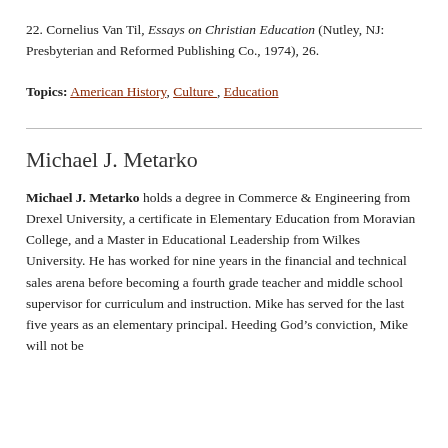22. Cornelius Van Til, Essays on Christian Education (Nutley, NJ: Presbyterian and Reformed Publishing Co., 1974), 26.
Topics: American History, Culture , Education
Michael J. Metarko
Michael J. Metarko holds a degree in Commerce & Engineering from Drexel University, a certificate in Elementary Education from Moravian College, and a Master in Educational Leadership from Wilkes University. He has worked for nine years in the financial and technical sales arena before becoming a fourth grade teacher and middle school supervisor for curriculum and instruction. Mike has served for the last five years as an elementary principal. Heeding God's conviction, Mike will not be